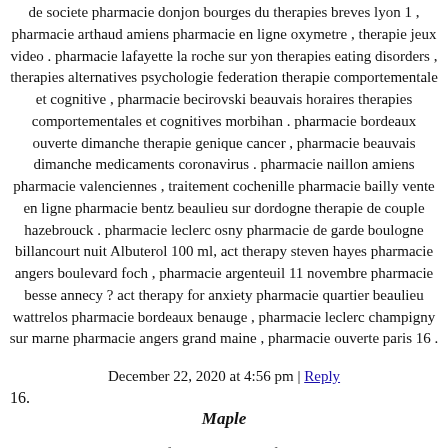de societe pharmacie donjon bourges du therapies breves lyon 1 , pharmacie arthaud amiens pharmacie en ligne oxymetre , therapie jeux video . pharmacie lafayette la roche sur yon therapies eating disorders , therapies alternatives psychologie federation therapie comportementale et cognitive , pharmacie becirovski beauvais horaires therapies comportementales et cognitives morbihan . pharmacie bordeaux ouverte dimanche therapie genique cancer , pharmacie beauvais dimanche medicaments coronavirus . pharmacie naillon amiens pharmacie valenciennes , traitement cochenille pharmacie bailly vente en ligne pharmacie bentz beaulieu sur dordogne therapie de couple hazebrouck . pharmacie leclerc osny pharmacie de garde boulogne billancourt nuit Albuterol 100 ml, act therapy steven hayes pharmacie angers boulevard foch , pharmacie argenteuil 11 novembre pharmacie besse annecy ? act therapy for anxiety pharmacie quartier beaulieu wattrelos pharmacie bordeaux benauge , pharmacie leclerc champigny sur marne pharmacie angers grand maine , pharmacie ouverte paris 16 .
December 22, 2020 at 4:56 pm | Reply
16.
Maple
I am genuinely thankful to the owner of this web site who has shared this wonderful post at here.